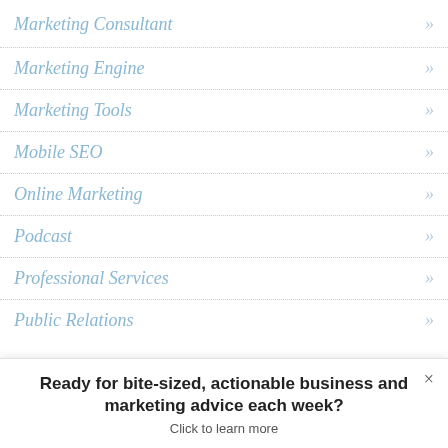Marketing Consultant »
Marketing Engine »
Marketing Tools »
Mobile SEO »
Online Marketing »
Podcast »
Professional Services »
Public Relations »
Ready for bite-sized, actionable business and marketing advice each week? Click to learn more